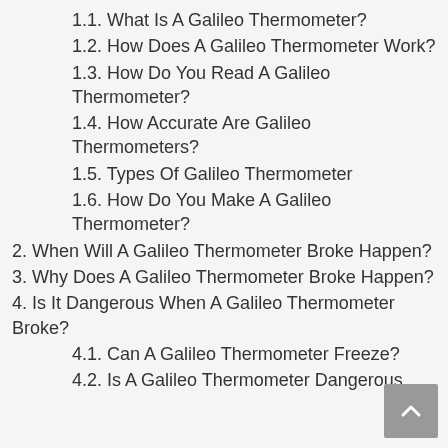1.1. What Is A Galileo Thermometer?
1.2. How Does A Galileo Thermometer Work?
1.3. How Do You Read A Galileo Thermometer?
1.4. How Accurate Are Galileo Thermometers?
1.5. Types Of Galileo Thermometer
1.6. How Do You Make A Galileo Thermometer?
2. When Will A Galileo Thermometer Broke Happen?
3. Why Does A Galileo Thermometer Broke Happen?
4. Is It Dangerous When A Galileo Thermometer Broke?
4.1. Can A Galileo Thermometer Freeze?
4.2. Is A Galileo Thermometer Dangerous